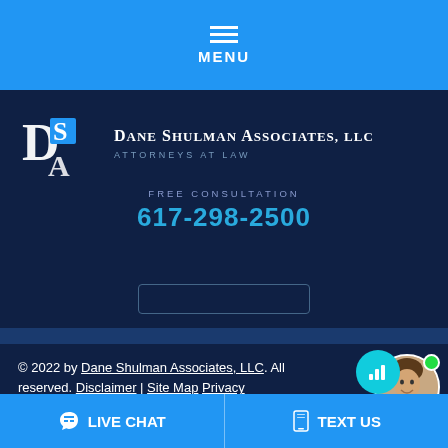MENU
[Figure (logo): DSA Dane Shulman Associates, LLC - Attorneys at Law logo with D, S, A letters on dark blue background]
FREE CONSULTATION
617-298-2500
© 2022 by Dane Shulman Associates, LLC. All rights reserved. Disclaimer | Site Map Privacy
LIVE CHAT   TEXT US